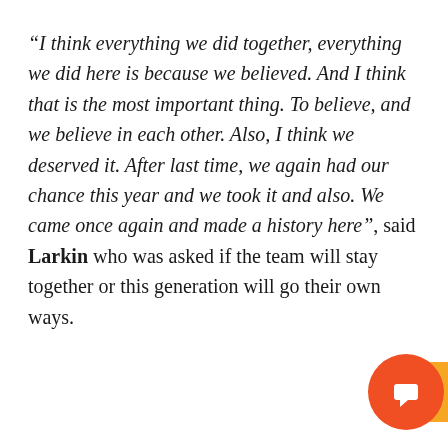“I think everything we did together, everything we did here is because we believed. And I think that is the most important thing. To believe, and we believe in each other. Also, I think we deserved it. After last time, we again had our chance this year and we took it and also. We came once again and made a history here”, said Larkin who was asked if the team will stay together or this generation will go their own ways.